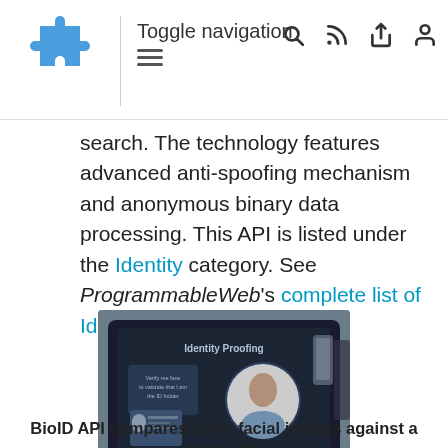Toggle navigation
search. The technology features advanced anti-spoofing mechanism and anonymous binary data processing. This API is listed under the Identity category. See ProgrammableWeb's complete list of Identity APIs.
[Figure (photo): Person typing on a laptop showing an 'Identity Proofing' screen with a facial recognition interface displaying a photo ID and a circular portrait photo.]
BioID API compares 2 live facial images against a photo ID,